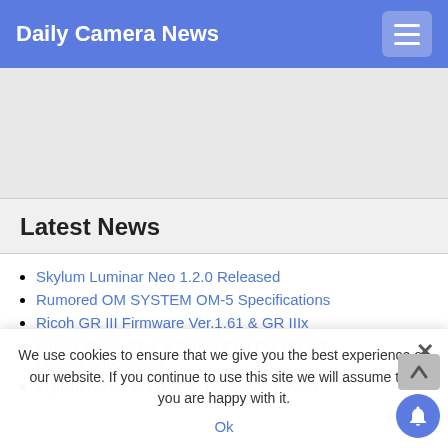Daily Camera News
[Figure (other): Gray advertisement banner area]
Latest News
Skylum Luminar Neo 1.2.0 Released
Rumored OM SYSTEM OM-5 Specifications
Ricoh GR III Firmware Ver.1.61 & GR IIIx
Sigma 20mm f/1.4 & 24mm f/1.4 DG DN Art Lenses Announced
Fujifilm X-H1, X-T100, X-T200, X-A5, X-A7
We use cookies to ensure that we give you the best experience on our website. If you continue to use this site we will assume that you are happy with it.